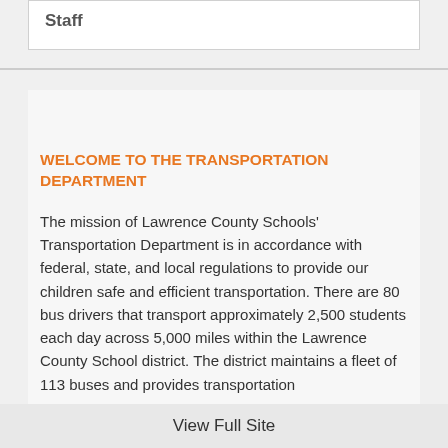Staff
WELCOME TO THE TRANSPORTATION DEPARTMENT
The mission of Lawrence County Schools' Transportation Department is in accordance with federal, state, and local regulations to provide our children safe and efficient transportation. There are 80 bus drivers that transport approximately 2,500 students each day across 5,000 miles within the Lawrence County School district. The district maintains a fleet of 113 buses and provides transportation
View Full Site